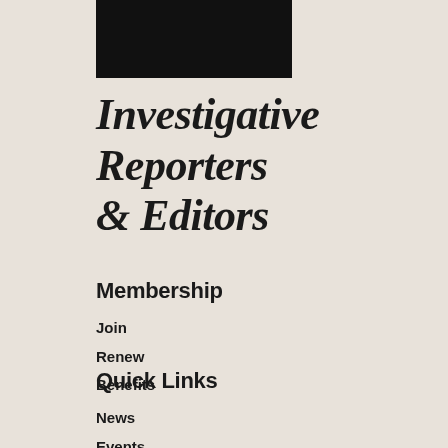[Figure (logo): Black rectangular logo block for Investigative Reporters and Editors]
Investigative Reporters & Editors
Membership
Join
Renew
Benefits
Quick Links
News
Events